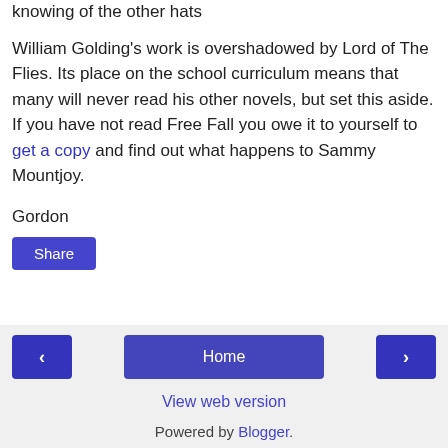cap, too. I had no more than hung it there, not knowing of the other hats
William Golding's work is overshadowed by Lord of The Flies. Its place on the school curriculum means that many will never read his other novels, but set this aside. If you have not read Free Fall you owe it to yourself to get a copy and find out what happens to Sammy Mountjoy.
Gordon
Share
‹  Home  ›  View web version  Powered by Blogger.